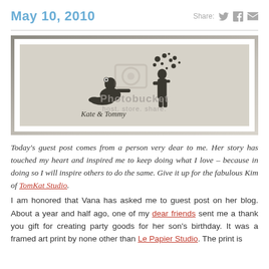May 10, 2010
[Figure (photo): A framed silhouette art print showing a girl sitting and a boy blowing bubbles, with 'Kate & Tommy' written in script below. Photobucket watermark overlay visible.]
Today's guest post comes from a person very dear to me. Her story has touched my heart and inspired me to keep doing what I love – because in doing so I will inspire others to do the same. Give it up for the fabulous Kim of TomKat Studio.
I am honored that Vana has asked me to guest post on her blog. About a year and half ago, one of my dear friends sent me a thank you gift for creating party goods for her son's birthday. It was a framed art print by none other than Le Papier Studio. The print is